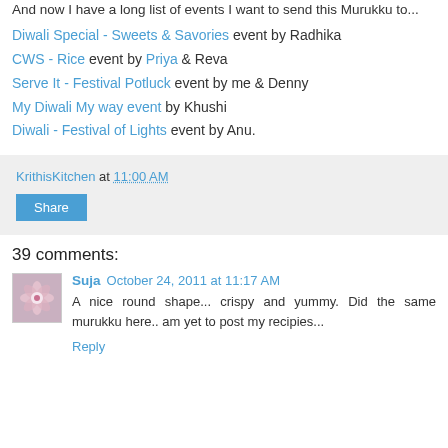And now I have a long list of events I want to send this Murukku to...
Diwali Special - Sweets & Savories event by Radhika
CWS - Rice event by Priya & Reva
Serve It - Festival Potluck event by me & Denny
My Diwali My way event by Khushi
Diwali - Festival of Lights event by Anu.
KrithisKitchen at 11:00 AM
Share
39 comments:
Suja October 24, 2011 at 11:17 AM
A nice round shape... crispy and yummy. Did the same murukku here.. am yet to post my recipies...
Reply